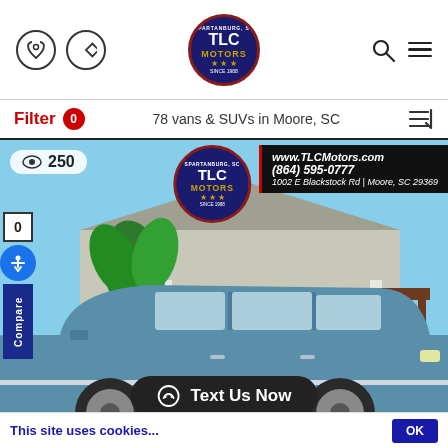TLC Motors — phone icon, directions icon, TLC Motors logo, search icon, menu icon
Filter 0   78 vans & SUVs in Moore, SC   [sort icon]
[Figure (photo): TLC Motors dealership photo with a blue Ford Explorer SUV in the foreground, TLC Motors logo overlay, contact info overlay showing www.TLCMotors.com (864) 595-0777 1002 E Blackstock Rd | Moore, SC 29369, view count 250, Compare sidebar, accessibility button]
Text Us Now
This site uses cookies... OK